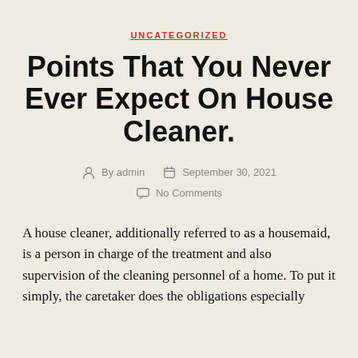UNCATEGORIZED
Points That You Never Ever Expect On House Cleaner.
By admin   September 30, 2021   No Comments
A house cleaner, additionally referred to as a housemaid, is a person in charge of the treatment and also supervision of the cleaning personnel of a home. To put it simply, the caretaker does the obligations especially